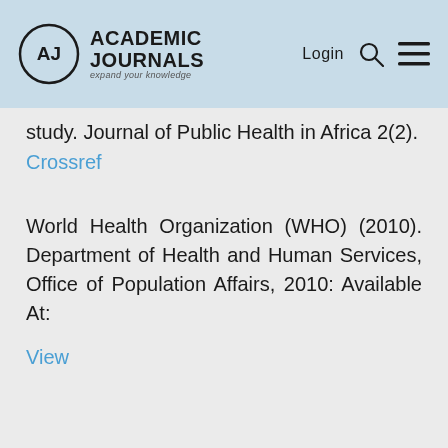Academic Journals — expand your knowledge | Login
study. Journal of Public Health in Africa 2(2).
Crossref
World Health Organization (WHO) (2010). Department of Health and Human Services, Office of Population Affairs, 2010: Available At:
View